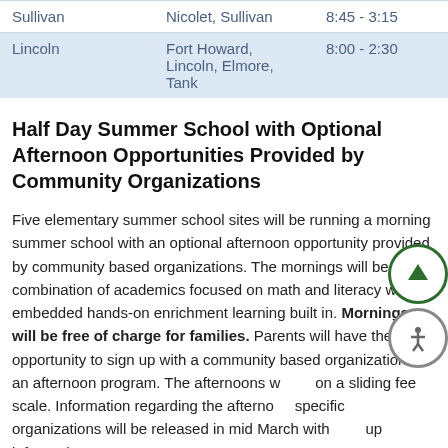|  | Routes | Hours |
| --- | --- | --- |
| Sullivan | Nicolet, Sullivan | 8:45 - 3:15 |
| Lincoln | Fort Howard, Lincoln, Elmore, Tank | 8:00 - 2:30 |
Half Day Summer School with Optional Afternoon Opportunities Provided by Community Organizations
Five elementary summer school sites will be running a morning summer school with an optional afternoon opportunity provided by community based organizations. The mornings will be a combination of academics focused on math and literacy with embedded hands-on enrichment learning built in. Mornings will be free of charge for families. Parents will have the opportunity to sign up with a community based organization for an afternoon program. The afternoons will be on a sliding fee scale. Information regarding the afternoon specific organizations will be released in mid March with sign up information.